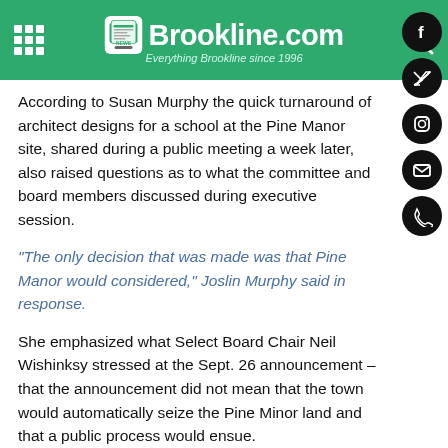Brookline.com — Everything Brookline since 1996
According to Susan Murphy the quick turnaround of architect designs for a school at the Pine Manor site, shared during a public meeting a week later, also raised questions as to what the committee and board members discussed during executive session.
"The only decision that was made was that Pine Manor would considered," Joslin Murphy said in response.
She emphasized what Select Board Chair Neil Wishinksy stressed at the Sept. 26 announcement – that the announcement did not mean that the town would automatically seize the Pine Minor land and that a public process would ensue.
On Nov. 14, Pine Manor filed an appeal of the town's response to the Attorney General's Division of Open Government, stating the town's response to the initial complaints was not satisfactory.